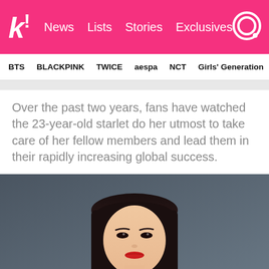k! News  Lists  Stories  Exclusives
BTS  BLACKPINK  TWICE  aespa  NCT  Girls' Generation
Over the past two years, fans have watched the 23-year-old starlet do her utmost to take care of her fellow members and lead them in their rapidly increasing global success.
[Figure (photo): A young Asian woman with straight black hair and blunt bangs, wearing a light-colored jacket, posing against a dark grey background with a serious expression and red lips.]